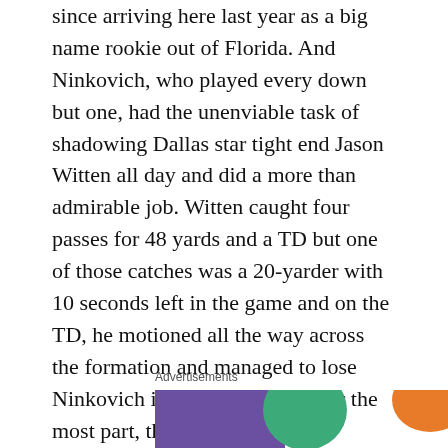since arriving here last year as a big name rookie out of Florida. And Ninkovich, who played every down but one, had the unenviable task of shadowing Dallas star tight end Jason Witten all day and did a more than admirable job. Witten caught four passes for 48 yards and a TD but one of those catches was a 20-yarder with 10 seconds left in the game and on the TD, he motioned all the way across the formation and managed to lose Ninkovich in the process. But for the most part, there he was, No. 50, chipping and hitting Witten at the line of scrimmage on nearly every pass play, looking like an All-Pro. The Pats have to be thrilled for the most part with what they got from this group. Maybe they should just put Mayo on IR.
Advertisements